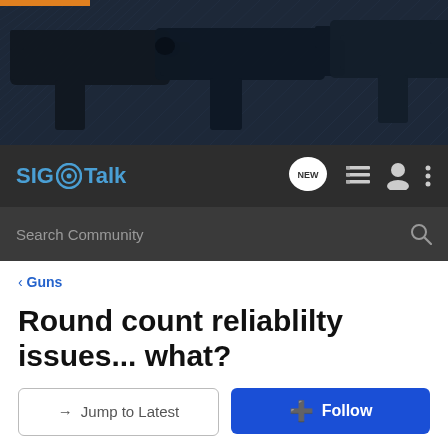[Figure (photo): Header banner showing three dark pistols/handguns on a dark metal diamond plate background]
SIG Talk — navigation bar with logo, NEW button, list icon, user icon, and menu icon; Search Community search bar
< Guns
Round count reliablilty issues... what?
→ Jump to Latest   + Follow
1 - 17 of 17 Posts